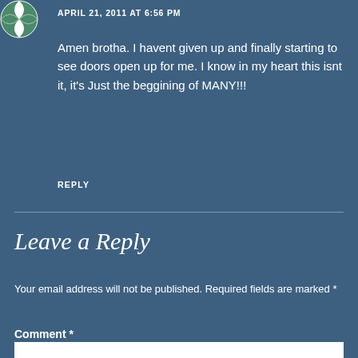[Figure (logo): Avatar icon with green and white circular design]
APRIL 21, 2011 AT 6:56 PM
Amen brotha. I havent given up and finally starting to see doors open up for me. I know in my heart this isnt it, it's Just the beggining of MANY!!!
REPLY
Leave a Reply
Your email address will not be published. Required fields are marked *
Comment *